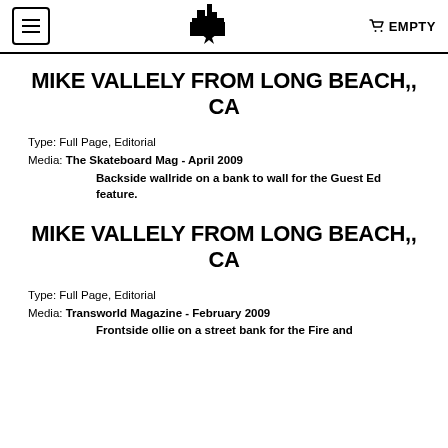EMPTY
MIKE VALLELY FROM LONG BEACH,, CA
Type: Full Page, Editorial
Media: The Skateboard Mag - April 2009
    Backside wallride on a bank to wall for the Guest Ed feature.
MIKE VALLELY FROM LONG BEACH,, CA
Type: Full Page, Editorial
Media: Transworld Magazine - February 2009
    Frontside ollie on a street bank for the Fire and